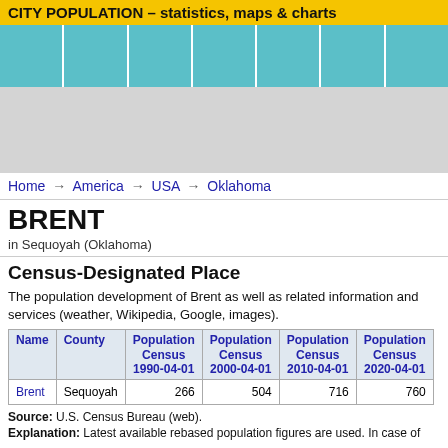CITY POPULATION – statistics, maps & charts
[Figure (other): Teal/cyan decorative banner with 7 column divisions separated by white lines]
[Figure (other): Gray advertisement placeholder area]
Home → America → USA → Oklahoma
BRENT
in Sequoyah (Oklahoma)
Census-Designated Place
The population development of Brent as well as related information and services (weather, Wikipedia, Google, images).
| Name | County | Population
Census
1990-04-01 | Population
Census
2000-04-01 | Population
Census
2010-04-01 | Population
Census
2020-04-01 |
| --- | --- | --- | --- | --- | --- |
| Brent | Sequoyah | 266 | 504 | 716 | 760 |
Source: U.S. Census Bureau (web).
Explanation: Latest available rebased population figures are used. In case of